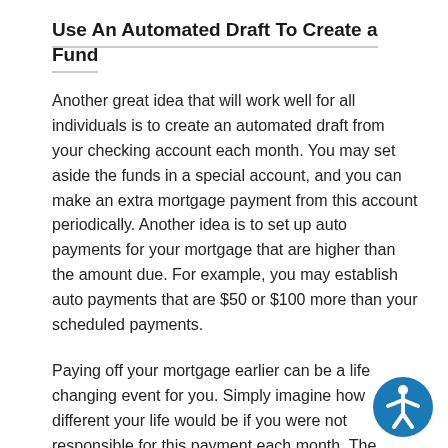Use An Automated Draft To Create a Fund
Another great idea that will work well for all individuals is to create an automated draft from your checking account each month. You may set aside the funds in a special account, and you can make an extra mortgage payment from this account periodically. Another idea is to set up auto payments for your mortgage that are higher than the amount due. For example, you may establish auto payments that are $50 or $100 more than your scheduled payments.
Paying off your mortgage earlier can be a life changing event for you. Simply imagine how different your life would be if you were not responsible for this payment each month. The